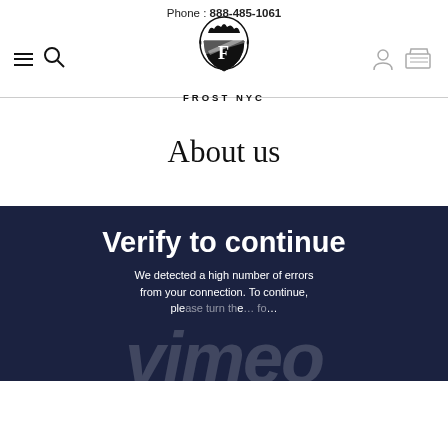Phone : 888-485-1061
[Figure (logo): Frost NYC logo with crest and wordmark FROST NYC]
About us
[Figure (screenshot): Vimeo 'Verify to continue' overlay on dark navy background. Text reads: 'Verify to continue' and 'We detected a high number of errors from your connection. To continue, please...' with Vimeo watermark logo overlaid.]